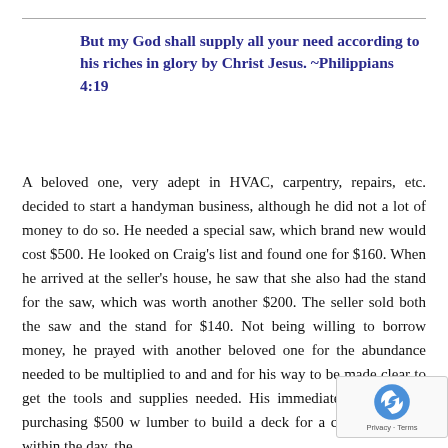But my God shall supply all your need according to his riches in glory by Christ Jesus. ~Philippians 4:19
A beloved one, very adept in HVAC, carpentry, repairs, etc. decided to start a handyman business, although he did not a lot of money to do so. He needed a special saw, which brand new would cost $500. He looked on Craig's list and found one for $160. When he arrived at the seller's house, he saw that she also had the stand for the saw, which was worth another $200. The seller sold both the saw and the stand for $140. Not being willing to borrow money, he prayed with another beloved one for the abundance needed to be multiplied to and and for his way to be made clear to get the tools and supplies needed. His immediate concern was purchasing $500 w lumber to build a deck for a customer. Well, within the day, the